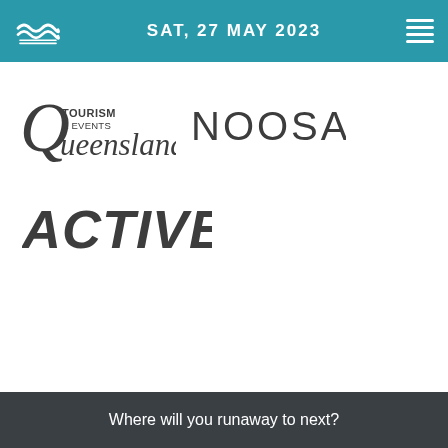SAT, 27 MAY 2023
[Figure (logo): Tourism & Events Queensland logo]
[Figure (logo): NOOSA logo]
[Figure (logo): ACTIVE logo]
Where will you runaway to next?